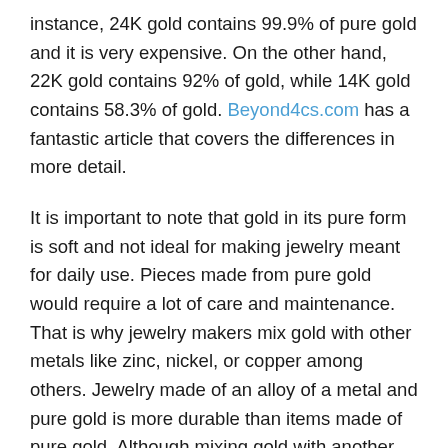instance, 24K gold contains 99.9% of pure gold and it is very expensive. On the other hand, 22K gold contains 92% of gold, while 14K gold contains 58.3% of gold. Beyond4cs.com has a fantastic article that covers the differences in more detail.
It is important to note that gold in its pure form is soft and not ideal for making jewelry meant for daily use. Pieces made from pure gold would require a lot of care and maintenance. That is why jewelry makers mix gold with other metals like zinc, nickel, or copper among others. Jewelry made of an alloy of a metal and pure gold is more durable than items made of pure gold. Although mixing gold with another metal affects the purity of the gold item it makes it sturdier and durable. For instance, some 10K gold rope chains have ten parts gold (41.7% pure gold) and 14 parts of another metal such as copper, zinc, silver or nickel. It is still authentic gold but with enhanced strength, making it ideal for making items that require more resistance for daily...